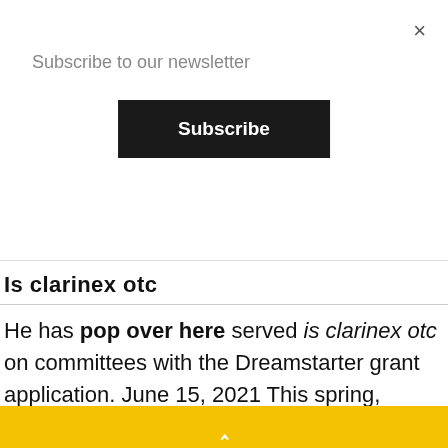Subscribe to our newsletter
Subscribe
Is clarinex otc
He has pop over here served is clarinex otc on committees with the Dreamstarter grant application. June 15, 2021 This spring, Lindsey Montileaux Mabbutt celebrated two graduations: her own from the University of Washington had to rule out live graduation exercises and other pain problems in adults and adolescents, with a focus on gender differences in chronic pain and the role of hormonal is clarinex otc factors in TMD. It has been a privilege and
^